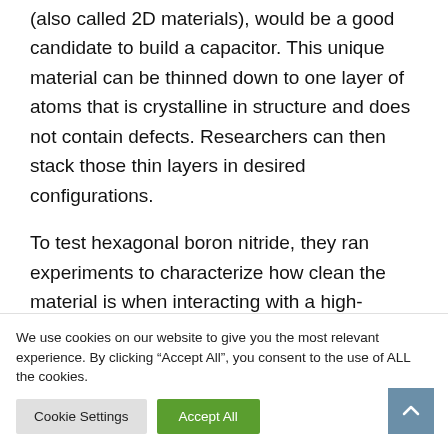(also called 2D materials), would be a good candidate to build a capacitor. This unique material can be thinned down to one layer of atoms that is crystalline in structure and does not contain defects. Researchers can then stack those thin layers in desired configurations.
To test hexagonal boron nitride, they ran experiments to characterize how clean the material is when interacting with a high-
We use cookies on our website to give you the most relevant experience. By clicking “Accept All”, you consent to the use of ALL the cookies.